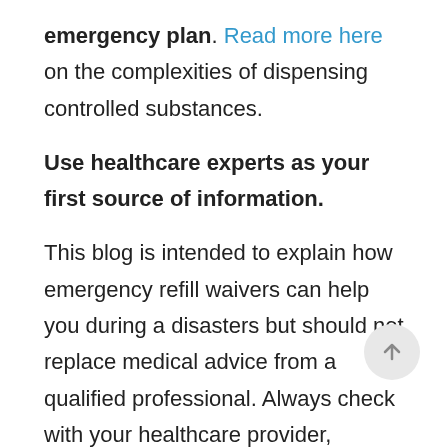emergency plan. Read more here on the complexities of dispensing controlled substances.
Use healthcare experts as your first source of information.
This blog is intended to explain how emergency refill waivers can help you during a disasters but should not replace medical advice from a qualified professional. Always check with your healthcare provider, pharmacist, and insurance provider first to determine a plan for upkeeping your health during a